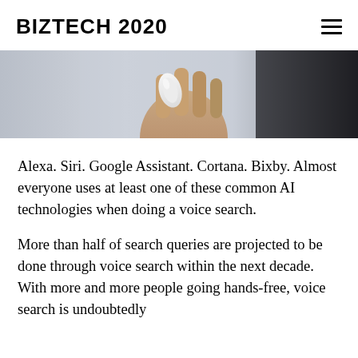BIZTECH 2020
[Figure (photo): Close-up photo of a hand holding a white smart device or earpiece against a blurred dark background.]
Alexa. Siri. Google Assistant. Cortana. Bixby. Almost everyone uses at least one of these common AI technologies when doing a voice search.
More than half of search queries are projected to be done through voice search within the next decade. With more and more people going hands-free, voice search is undoubtedly